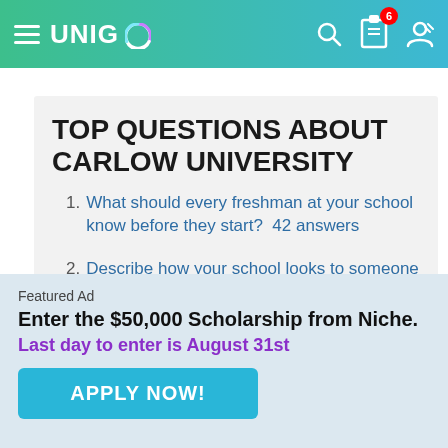[Figure (screenshot): Unigo website navigation bar with hamburger menu, Unigo logo, search icon, clipboard icon with badge showing 6, and user icon on a green-teal gradient background]
TOP QUESTIONS ABOUT CARLOW UNIVERSITY
1. What should every freshman at your school know before they start? 42 answers
2. Describe how your school looks to someone who's never seen it. 11 answers
3. What do you consider the worst thing about
Featured Ad
Enter the $50,000 Scholarship from Niche.
Last day to enter is August 31st
APPLY NOW!